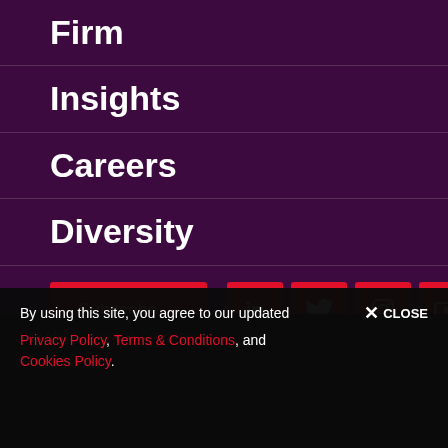Firm
Insights
Careers
Diversity
[Figure (other): Subscribe button with social media icons: LinkedIn, Twitter, Instagram, YouTube, Email]
Home
Site Map   Terms & Conditions
By using this site, you agree to our updated CLOSE
Privacy Policy, Terms & Conditions, and
Cookies Policy.